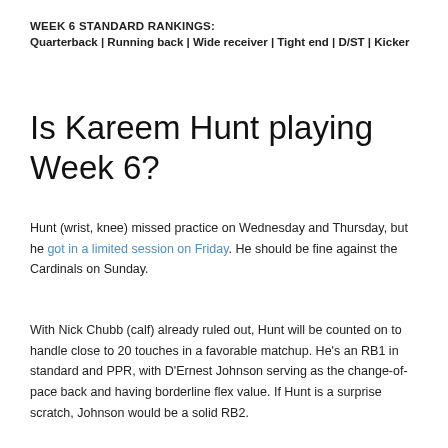WEEK 6 STANDARD RANKINGS:
Quarterback | Running back | Wide receiver | Tight end | D/ST | Kicker
Is Kareem Hunt playing Week 6?
Hunt (wrist, knee) missed practice on Wednesday and Thursday, but he got in a limited session on Friday. He should be fine against the Cardinals on Sunday.
With Nick Chubb (calf) already ruled out, Hunt will be counted on to handle close to 20 touches in a favorable matchup. He's an RB1 in standard and PPR, with D'Ernest Johnson serving as the change-of-pace back and having borderline flex value. If Hunt is a surprise scratch, Johnson would be a solid RB2.